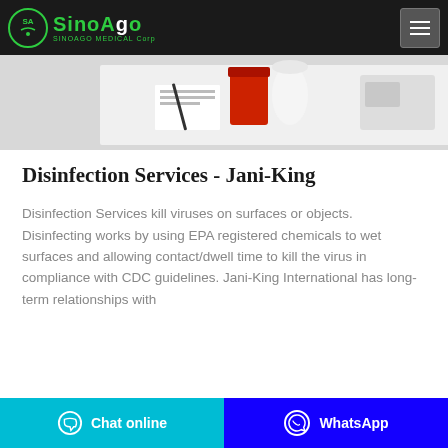SinoAgo Medical Corp
[Figure (photo): Medical laboratory supplies and equipment on a white surface, including red containers, papers, and lab devices]
Disinfection Services - Jani-King
Disinfection Services kill viruses on surfaces or objects. Disinfecting works by using EPA registered chemicals to wet surfaces and allowing contact/dwell time to kill the virus in compliance with CDC guidelines. Jani-King International has long-term relationships with
Chat online | WhatsApp